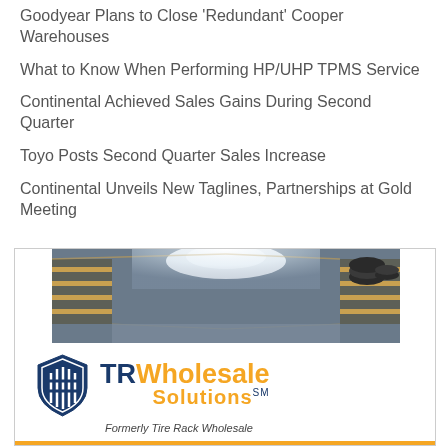Goodyear Plans to Close 'Redundant' Cooper Warehouses
What to Know When Performing HP/UHP TPMS Service
Continental Achieved Sales Gains During Second Quarter
Toyo Posts Second Quarter Sales Increase
Continental Unveils New Taglines, Partnerships at Gold Meeting
[Figure (advertisement): TR Wholesale Solutions advertisement featuring a warehouse photo, company logo with shield icon, tagline 'The TR Wholesale Solutions Advantage', and 'START HERE' button. Formerly Tire Rack Wholesale.]